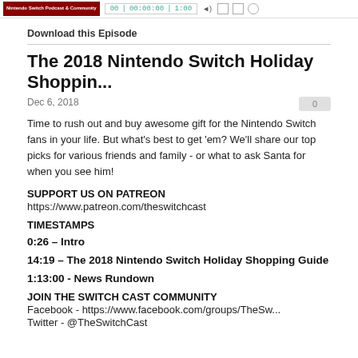Nintendo Switch Podcast & Community | player controls
Download this Episode
The 2018 Nintendo Switch Holiday Shoppin...
Dec 6, 2018
Time to rush out and buy awesome gift for the Nintendo Switch fans in your life. But what's best to get 'em? We'll share our top picks for various friends and family - or what to ask Santa for when you see him!
SUPPORT US ON PATREON
https://www.patreon.com/theswitchcast
TIMESTAMPS
0:26 – Intro
14:19 – The 2018 Nintendo Switch Holiday Shopping Guide
1:13:00 - News Rundown
JOIN THE SWITCH CAST COMMUNITY
Facebook - https://www.facebook.com/groups/TheSw...
Twitter - @TheSwitchCast